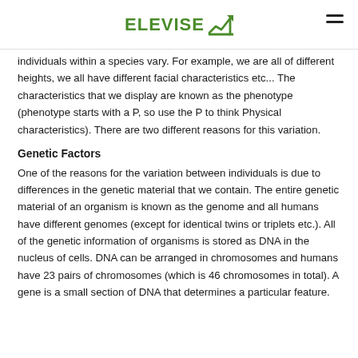ELEVISE
individuals within a species vary. For example, we are all of different heights, we all have different facial characteristics etc... The characteristics that we display are known as the phenotype (phenotype starts with a P, so use the P to think Physical characteristics). There are two different reasons for this variation.
Genetic Factors
One of the reasons for the variation between individuals is due to differences in the genetic material that we contain. The entire genetic material of an organism is known as the genome and all humans have different genomes (except for identical twins or triplets etc.). All of the genetic information of organisms is stored as DNA in the nucleus of cells. DNA can be arranged in chromosomes and humans have 23 pairs of chromosomes (which is 46 chromosomes in total). A gene is a small section of DNA that determines a particular feature.